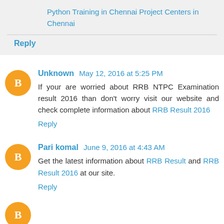Python Training in Chennai Project Centers in Chennai
Reply
Unknown May 12, 2016 at 5:25 PM
If your are worried about RRB NTPC Examination result 2016 than don't worry visit our website and check complete information about RRB Result 2016
Reply
Pari komal June 9, 2016 at 4:43 AM
Get the latest information about RRB Result and RRB Result 2016 at our site.
Reply